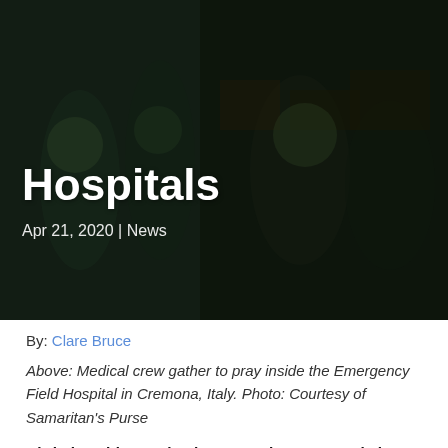[Figure (photo): Dark background image showing medical crew in protective gear inside a field hospital, with boxes and equipment visible]
Hospitals
Apr 21, 2020 | News
By: Clare Bruce
Above: Medical crew gather to pray inside the Emergency Field Hospital in Cremona, Italy. Photo: Courtesy of Samaritan's Purse
Christian aid organisation Samaritan's Purse is busy responding to the COVID-19 pandemic across the world, with two emergency field hospitals set